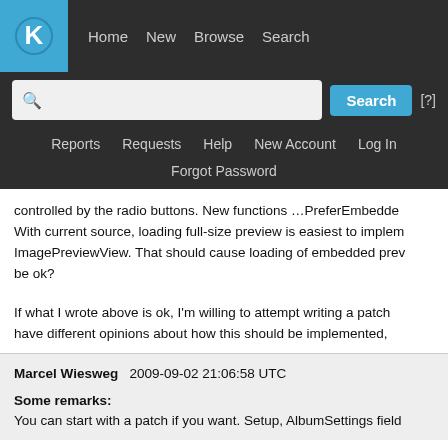[Figure (screenshot): KDE website navigation header with logo, nav links (Home, New, Browse, Search), search bar with Search button and [?] link, secondary nav (Reports, Requests, Help, New Account, Log In), and Forgot Password link]
controlled by the radio buttons. New functions …PreferEmbedded… With current source, loading full-size preview is easiest to implement in ImagePreviewView. That should cause loading of embedded prev… be ok?
If what I wrote above is ok, I'm willing to attempt writing a patch … have different opinions about how this should be implemented,…
Marcel Wiesweg   2009-09-02 21:06:58 UTC
Some remarks:
You can start with a patch if you want. Setup, AlbumSettings field…